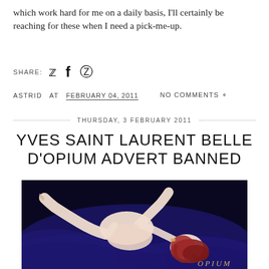which work hard for me on a daily basis, I'll certainly be reaching for these when I need a pick-me-up.
SHARE: [twitter] [facebook] [pinterest]
ASTRID AT FEBRUARY 04, 2011   NO COMMENTS
THURSDAY, 3 FEBRUARY 2011
YVES SAINT LAURENT BELLE D'OPIUM ADVERT BANNED
[Figure (photo): Promotional photo for Yves Saint Laurent Belle d'Opium perfume showing a reclining model with red hair against a dark blue silk background. The OPIUM logo appears in gold at the bottom right.]